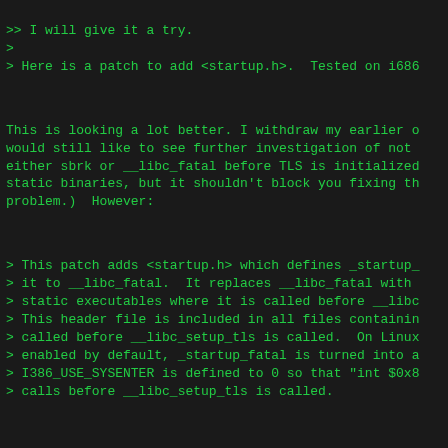>> I will give it a try.
>
> Here is a patch to add <startup.h>.  Tested on i686
This is looking a lot better. I withdraw my earlier o would still like to see further investigation of not either sbrk or __libc_fatal before TLS is initialized static binaries, but it shouldn't block you fixing th problem.)  However:
> This patch adds <startup.h> which defines _startup_
> it to __libc_fatal.  It replaces __libc_fatal with
> static executables where it is called before __libc
> This header file is included in all files containin
> called before __libc_setup_tls is called.  On Linux
> enabled by default, _startup_fatal is turned into a
> I386_USE_SYSENTER is defined to 0 so that "int $0x8
> calls before __libc_setup_tls is called.
This would be a good point in the commit message to e is tested.  Something like "Without this patch, all s tests will fail on i386 when the compiler defaults to
> +/* When PIC is defined and SHARED isn't defined, w
> +   by default.  */
> +#if defined PIC && !defined SHARED
> +# define BUILD_PIE_DEFAULT
> +#endif
Please don't add new conditionals to config.h.in.  Pe libc-symbols.h instead (after the inclusion of config won't work for some reason, please explain.